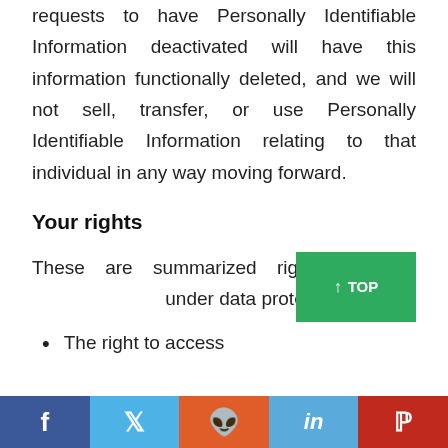requests to have Personally Identifiable Information deactivated will have this information functionally deleted, and we will not sell, transfer, or use Personally Identifiable Information relating to that individual in any way moving forward.
Your rights
These are summarized rights that yo under data protection law
The right to access